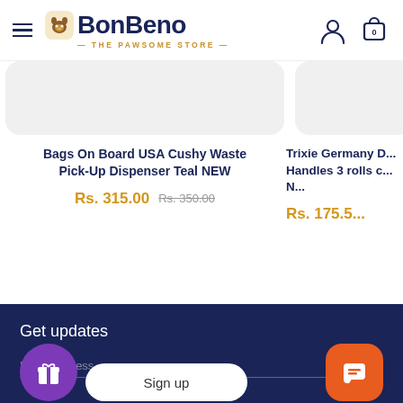BonBeno — The Pawsome Store
Bags On Board USA Cushy Waste Pick-Up Dispenser Teal NEW
Rs. 315.00  Rs. 350.00
Trixie Germany D... Handles 3 rolls c... N... Rs. 175...
Get updates
Email address
Sign up